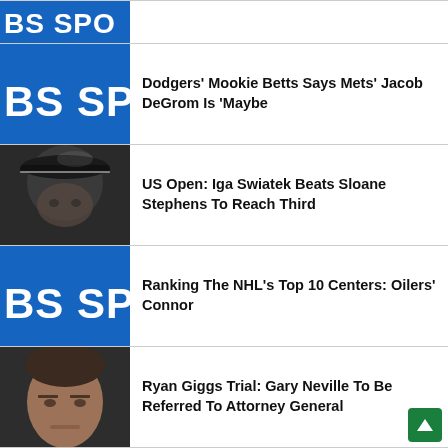[Figure (screenshot): CBS Sports logo thumbnail (blue background, partial text 'BS SPO')]
Dodgers' Mookie Betts Says Mets' Jacob DeGrom Is 'Maybe
[Figure (photo): Tennis player wearing dark cap, close-up portrait]
US Open: Iga Swiatek Beats Sloane Stephens To Reach Third
[Figure (screenshot): CBS Sports logo thumbnail (blue background, partial text 'BS SPO')]
Ranking The NHL's Top 10 Centers: Oilers' Connor
[Figure (photo): Man's face close-up, dark hair, serious expression (Gary Neville)]
Ryan Giggs Trial: Gary Neville To Be Referred To Attorney General
[Figure (screenshot): CBS Sports logo thumbnail (blue background), partially visible]
WATCH: Ti... To...t Pl...